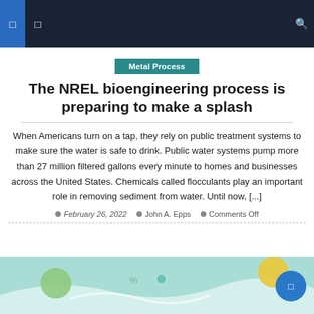Navigation bar
Metal Process
The NREL bioengineering process is preparing to make a splash
When Americans turn on a tap, they rely on public treatment systems to make sure the water is safe to drink. Public water systems pump more than 27 million filtered gallons every minute to homes and businesses across the United States. Chemicals called flocculants play an important role in removing sediment from water. Until now, [...]
February 26, 2022  John A. Epps  Comments Off
[Figure (illustration): Partial view of a teal/aqua colored illustration showing biological or water treatment imagery with yellow and green circular elements]